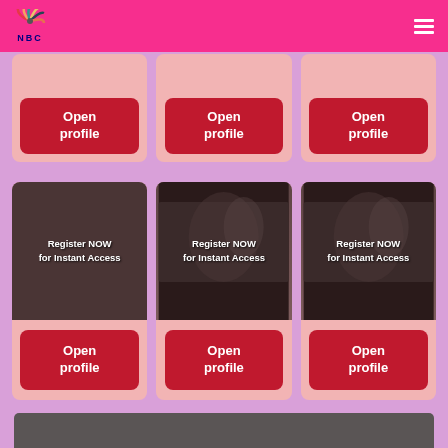[Figure (screenshot): NBC website header with peacock logo and hamburger menu on pink/magenta background]
[Figure (screenshot): Three partially visible profile cards with 'Open profile' red buttons on pink background, cropped at top]
[Figure (screenshot): Three profile cards with dark images overlaid with 'Register NOW for Instant Access' text and 'Open profile' red buttons]
[Figure (screenshot): Dark gray bar at bottom of page]